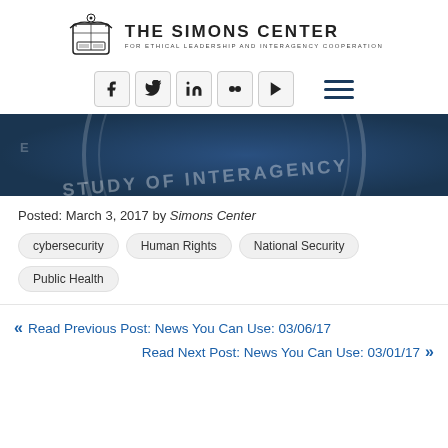[Figure (logo): The Simons Center for Ethical Leadership and Interagency Cooperation logo with crest and text]
[Figure (infographic): Social media icons row: Facebook, Twitter, LinkedIn, Flickr, YouTube, and hamburger menu icon]
[Figure (photo): Dark blue circular seal/emblem with text 'STUDY OF INTERAGENCY' visible, cropped banner image]
Posted: March 3, 2017 by Simons Center
cybersecurity
Human Rights
National Security
Public Health
« Read Previous Post: News You Can Use: 03/06/17
Read Next Post: News You Can Use: 03/01/17 »